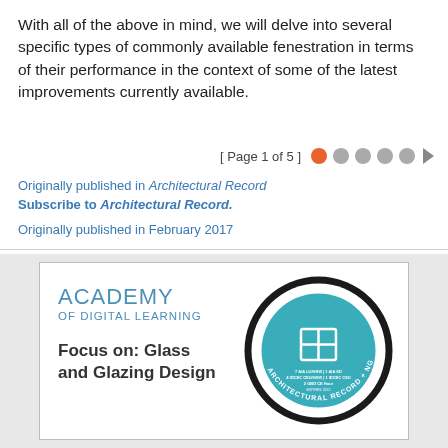With all of the above in mind, we will delve into several specific types of commonly available fenestration in terms of their performance in the context of some of the latest improvements currently available.
[ Page 1 of 5 ]
Originally published in Architectural Record
Subscribe to Architectural Record.
Originally published in February 2017
[Figure (logo): Academy of Digital Learning advertisement for Glass and Glazing Design course, with a circular badge showing Glass and Glazing Design Academy credentials including 7 AIA LU/HSW, 1 AIA SD, 4 IDCEC CEU/HSW, 1 IDCEC CEU, 2 GBD CE Hour. Focus on: Glass and Glazing Design.]